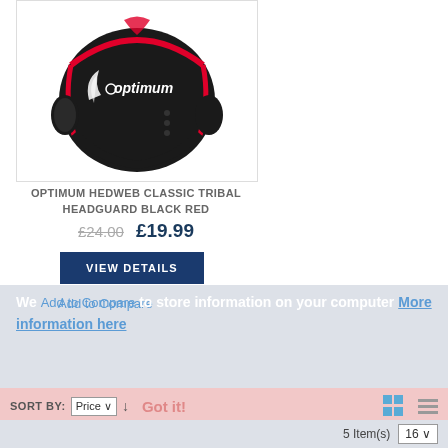[Figure (photo): Black and red Optimum brand rugby headguard/helmet on white background]
OPTIMUM HEDWEB CLASSIC TRIBAL HEADGUARD BLACK RED
£24.00  £19.99
VIEW DETAILS
We use cookies to store information on your computer. More information here
Add to Compare
SORT BY: Price ↓  Got it!
5 Item(s)  16